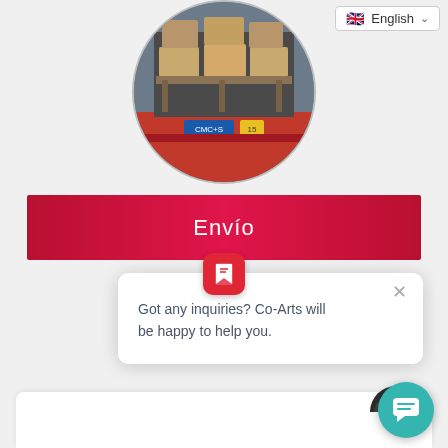[Figure (photo): Circular cropped photo of stacked cardboard boxes on pallets being loaded/unloaded from a truck or container. The truck has CMC branding visible in red and blue.]
English
Envío
[Figure (screenshot): Chat widget popup with Co-Arts logo icon (red square with white arrow/bookmark symbol). Shows close X button. Text reads: Got any inquiries? Co-Arts will be happy to help you.]
Got any inquiries? Co-Arts will be happy to help you.